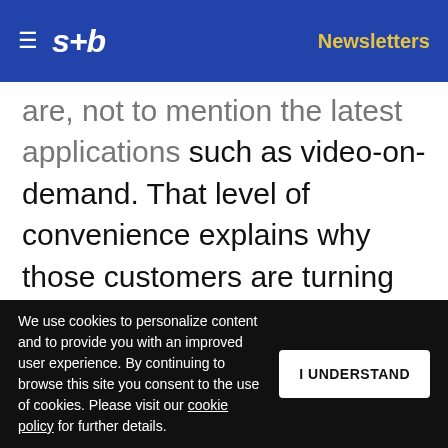s+b | Newsletters
are, not to mention the latest applications such as video-on-demand. That level of convenience explains why those customers are turning to wireless networks as a complement to or even a substitute for their fixed-line connections, not just for voice communications but for broadband access as well. Simultaneously, fierce competition is driving down the price of mobile data. In some markets, data packages are already
We use cookies to personalize content and to provide you with an improved user experience. By continuing to browse this site you consent to the use of cookies. Please visit our cookie policy for further details.